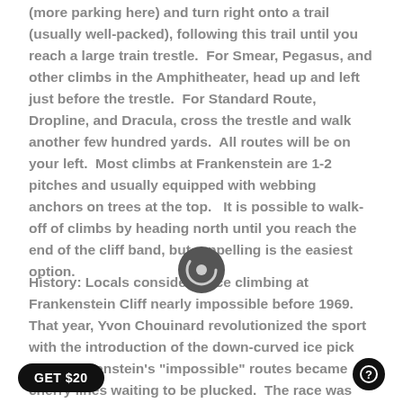(more parking here) and turn right onto a trail (usually well-packed), following this trail until you reach a large train trestle. For Smear, Pegasus, and other climbs in the Amphitheater, head up and left just before the trestle. For Standard Route, Dropline, and Dracula, cross the trestle and walk another few hundred yards. All routes will be on your left. Most climbs at Frankenstein are 1-2 pitches and usually equipped with webbing anchors on trees at the top. It is possible to walk-off of climbs by heading north until you reach the end of the cliff band, but rappelling is the easiest option.
History: Locals considered ice climbing at Frankenstein Cliff nearly impossible before 1969. That year, Yvon Chouinard revolutionized the sport with the introduction of the down-curved ice pick and Frankenstein's "impossible" routes became cherry lines waiting to be plucked. The race was on. Winter of 1970-71 saw ascents of many of the classics such as Chia, Pegasus, Standard. Nearly all the best lines had been climbed by 1975. Don't let the early dates of these ascents fool you. The climbing at Frankenstein is steep and hard, and many a modern [lowered unsuccessfully off of Dracula or Dropline wonder] "How the hell did they do that?". In recent years a number of local